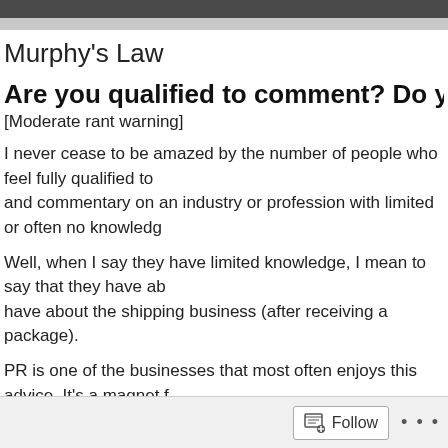Murphy's Law
Are you qualified to comment? Do you care? Th
[Moderate rant warning]
I never cease to be amazed by the number of people who feel fully qualified to and commentary on an industry or profession with limited or often no knowled
Well, when I say they have limited knowledge, I mean to say that they have ab have about the shipping business (after receiving a package).
PR is one of the businesses that most often enjoys this advice. It's a magnet f
Too often these people equate the entire business with pure media relations. incredibly important, but it's just one element of our work.
By the way just in case you are concerned that you won't be able to spot these normally say: “PR is dead (or dying)”.
Follow ...